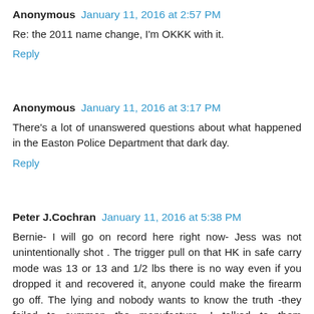Anonymous  January 11, 2016 at 2:57 PM
Re: the 2011 name change, I'm OKKK with it.
Reply
Anonymous  January 11, 2016 at 3:17 PM
There's a lot of unanswered questions about what happened in the Easton Police Department that dark day.
Reply
Peter J.Cochran  January 11, 2016 at 5:38 PM
Bernie- I will go on record here right now- Jess was not unintentionally shot . The trigger pull on that HK in safe carry mode was 13 or 13 and 1/2 lbs there is no way even if you dropped it and recovered it, anyone could make the firearm go off. The lying and nobody wants to know the truth -they failed to summon the manufacture ,I talked to them personally. Babies are born that weigh less than this weight-13 lbs- of first round safety position. The city nor the